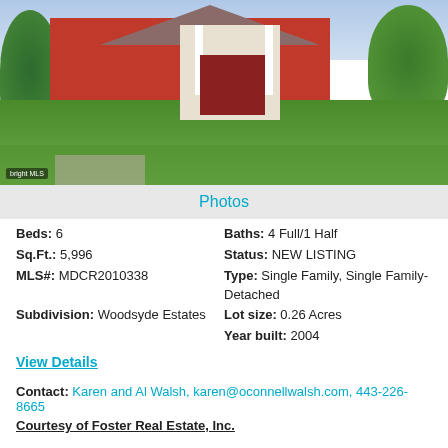[Figure (photo): Exterior photo of a brick single-family home with green lawn, trees, and attached garage. Bright MLS watermark in bottom left.]
Photos
Beds: 6
Baths: 4 Full/1 Half
Sq.Ft.: 5,996
Status: NEW LISTING
MLS#: MDCR2010338
Type: Single Family, Single Family-Detached
Subdivision: Woodsyde Estates
Lot size: 0.26 Acres
Year built: 2004
View Details
Contact: Karen and Al Walsh, karen@oconnellwalsh.com, 443-226-8665
Courtesy of Foster Real Estate, Inc.